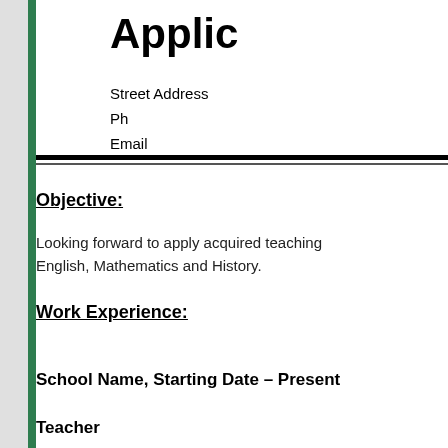Applic
Street Address
Ph
Email
Objective:
Looking forward to apply acquired teaching
English, Mathematics and History.
Work Experience:
School Name, Starting Date – Present
Teacher